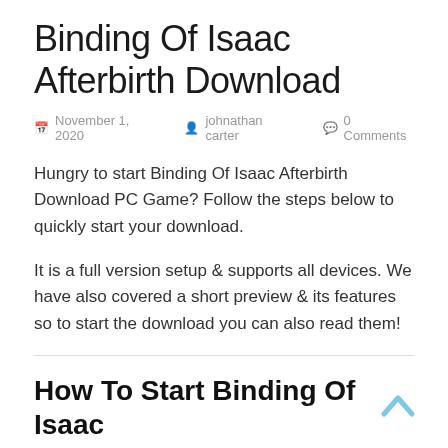Binding Of Isaac Afterbirth Download
November 1, 2020   johnathan carter   0 Comments
Hungry to start Binding Of Isaac Afterbirth Download PC Game? Follow the steps below to quickly start your download.
It is a full version setup & supports all devices. We have also covered a short preview & its features so to start the download you can also read them!
How To Start Binding Of Isaac Afterbirth Pc Download